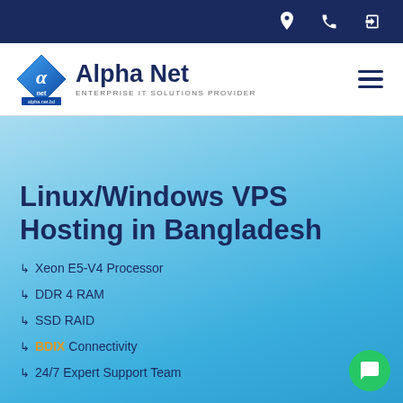Alpha Net - Enterprise IT Solutions Provider
[Figure (logo): Alpha Net diamond logo with text 'Alpha Net' and subtitle 'ENTERPRISE IT SOLUTIONS PROVIDER']
Linux/Windows VPS Hosting in Bangladesh
↳ Xeon E5-V4 Processor
↳ DDR 4 RAM
↳ SSD RAID
↳ BDIX Connectivity
↳ 24/7 Expert Support Team